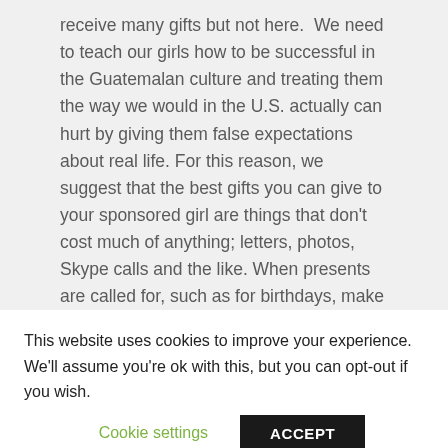receive many gifts but not here.  We need to teach our girls how to be successful in the Guatemalan culture and treating them the way we would in the U.S. actually can hurt by giving them false expectations about real life. For this reason, we suggest that the best gifts you can give to your sponsored girl are things that don't cost much of anything; letters, photos, Skype calls and the like. When presents are called for, such as for birthdays, make sure to be in contact with our Child Sponsorship
This website uses cookies to improve your experience. We'll assume you're ok with this, but you can opt-out if you wish.
Cookie settings
ACCEPT